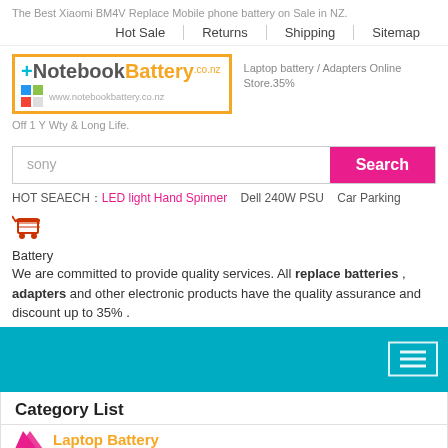The Best Xiaomi BM4V Replace Mobile phone battery on Sale in NZ.
Hot Sale | Returns | Shipping | Sitemap
[Figure (logo): NotebookBattery.co.nz logo with colored squares and website URL]
Laptop battery / Adapters Online Store.35%
Off 1 Y Wty & Long Life.
sony [search input] Search
HOT SEAECH：LED light Hand Spinner   Dell 240W PSU   Car Parking
[Figure (illustration): Shopping cart icon in orange/red]
Battery
We are committed to provide quality services. All replace batteries , adapters and other electronic products have the quality assurance and discount up to 35% .
[Figure (other): Teal/cyan banner with hamburger menu icon]
Category List
Laptop Battery